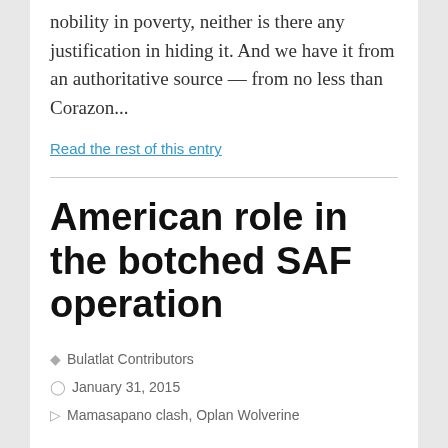nobility in poverty, neither is there any justification in hiding it. And we have it from an authoritative source — from no less than Corazon...
Read the rest of this entry
American role in the botched SAF operation
Bulatlat Contributors
January 31, 2015
Mamasapano clash, Oplan Wolverine